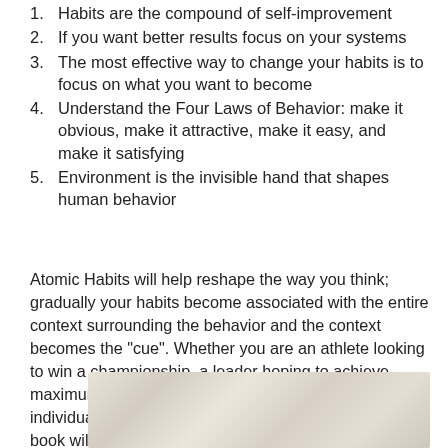1. Habits are the compound of self-improvement
2. If you want better results focus on your systems
3. The most effective way to change your habits is to focus on what you want to become
4. Understand the Four Laws of Behavior: make it obvious, make it attractive, make it easy, and make it satisfying
5. Environment is the invisible hand that shapes human behavior
Atomic Habits will help reshape the way you think; gradually your habits become associated with the entire context surrounding the behavior and the context becomes the “cue”. Whether you are an athlete looking to win a championship, a leader hoping to achieve maximum efficiency within your organization, or an individual looking to reduce or eliminate bad habits, this book will give you tools and techniques to support transforming your habits.
[Figure (photo): Partial image of a worn or textured surface, appears to be a book cover or similar physical object with beige/tan tones]